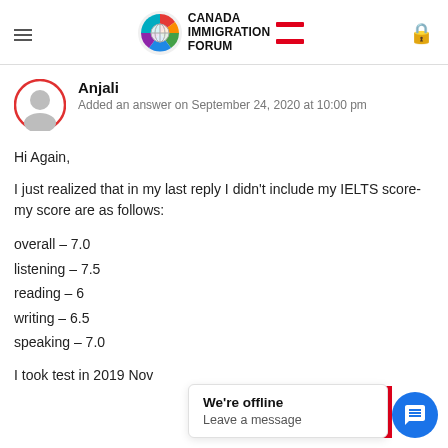Canada Immigration Forum
[Figure (logo): Canada Immigration Forum logo with colorful circular icon and Canadian flag red bars]
Anjali
Added an answer on September 24, 2020 at 10:00 pm
Hi Again,

I just realized that in my last reply I didn't include my IELTS score- my score are as follows:

overall – 7.0
listening – 7.5
reading – 6
writing – 6.5
speaking – 7.0

I took test in 2019 Nov
We're offline
Leave a message